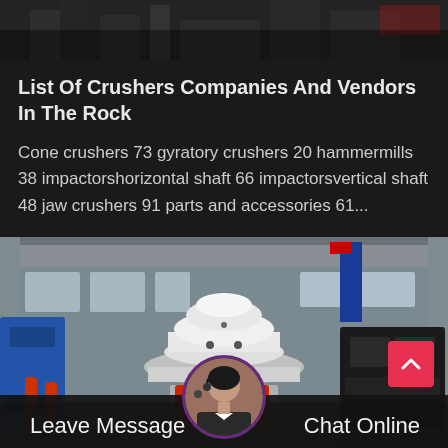[Figure (photo): Top strip showing industrial factory/warehouse setting in dark tones]
List Of Crushers Companies And Vendors In The Rock
Cone crushers 73 gyratory crushers 20 hammermills 38 impactorshorizontal shaft 66 impactorsvertical shaft 48 jaw crushers 91 parts and accessories 61...
[Figure (photo): Industrial cone crusher machine in a large factory hall, white and red colored, with blue and black machinery in the background]
Leave Message
Chat Online